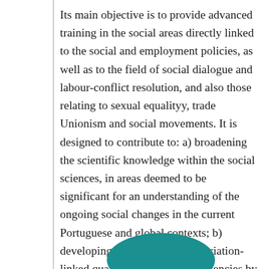Its main objective is to provide advanced training in the social areas directly linked to the social and employment policies, as well as to the field of social dialogue and labour-conflict resolution, and also those relating to sexual equalityy, trade Unionism and social movements. It is designed to contribute to: a) broadening the scientific knowledge within the social sciences, in areas deemed to be significant for an understanding of the ongoing social changes in the current Portuguese and global contexts; b) developing professional or association-linked qualifications and competencies by deepening the analysis and critical diagnosis centred around these themes.
[Figure (photo): Partial view of a person wearing a teal/green garment, cropped at the bottom of the page]